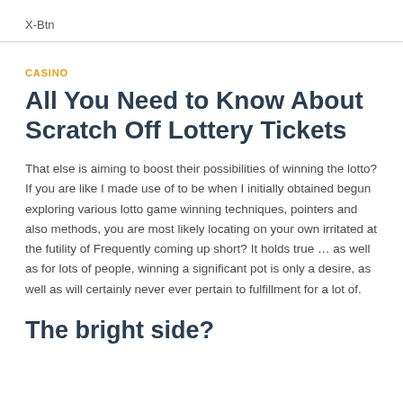X-Btn
CASINO
All You Need to Know About Scratch Off Lottery Tickets
That else is aiming to boost their possibilities of winning the lotto? If you are like I made use of to be when I initially obtained begun exploring various lotto game winning techniques, pointers and also methods, you are most likely locating on your own irritated at the futility of Frequently coming up short? It holds true … as well as for lots of people, winning a significant pot is only a desire, as well as will certainly never ever pertain to fulfillment for a lot of.
The bright side?